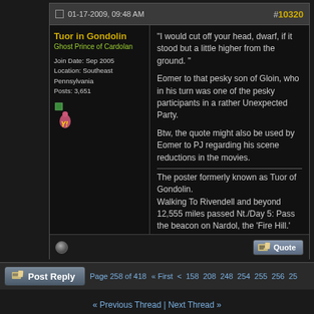01-17-2009, 09:48 AM  #10320
Tuor in Gondolin
Ghost Prince of Cardolan
Join Date: Sep 2005
Location: Southeast Pennsylvania
Posts: 3,651
"I would cut off your head, dwarf, if it stood but a little higher from the ground. "

Eomer to that pesky son of Gloin, who in his turn was one of the pesky participants in a rather Unexpected Party.

Btw, the quote might also be used by Eomer to PJ regarding his scene reductions in the movies.

The poster formerly known as Tuor of Gondolin.
Walking To Rivendell and beyond 12,555 miles passed Nt./Day 5: Pass the beacon on Nardol, the 'Fire Hill.'
Page 258 of 418  « First  <  158  208  248  254  255  256  25
« Previous Thread | Next Thread »